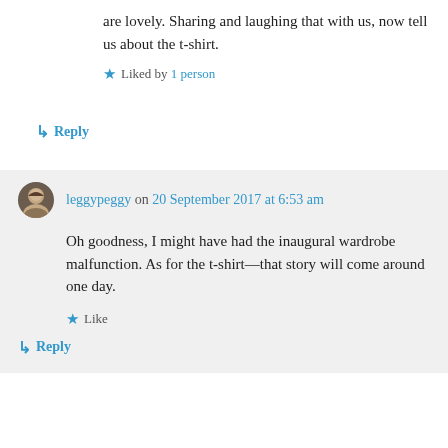are lovely. Sharing and laughing that with us, now tell us about the t-shirt.
Liked by 1 person
Reply
leggypeggy on 20 September 2017 at 6:53 am
Oh goodness, I might have had the inaugural wardrobe malfunction. As for the t-shirt—that story will come around one day.
Like
Reply